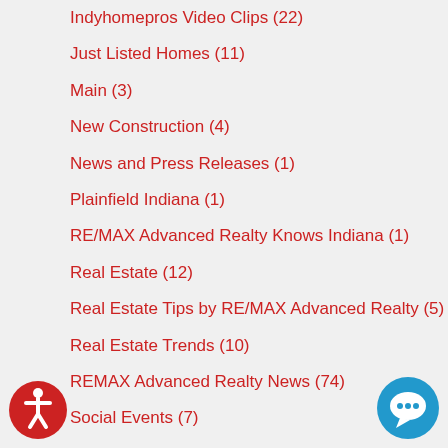Indyhomepros Video Clips  (22)
Just Listed Homes  (11)
Main  (3)
New Construction  (4)
News and Press Releases  (1)
Plainfield Indiana  (1)
RE/MAX Advanced Realty Knows Indiana  (1)
Real Estate  (12)
Real Estate Tips by RE/MAX Advanced Realty  (5)
Real Estate Trends  (10)
REMAX Advanced Realty News  (74)
Social Events  (7)
Taking Care of Your Home  (15)
Posts By Month
August, 2022  (6)